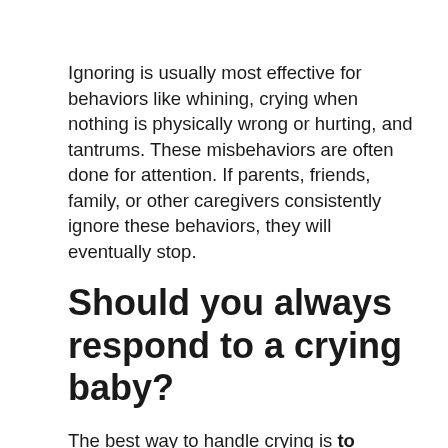Ignoring is usually most effective for behaviors like whining, crying when nothing is physically wrong or hurting, and tantrums. These misbehaviors are often done for attention. If parents, friends, family, or other caregivers consistently ignore these behaviors, they will eventually stop.
Should you always respond to a crying baby?
The best way to handle crying is to respond promptly during her first few months. You cannot spoil a young baby with attention, and if you answer her calls for help, she'll cry less overall. When responding...